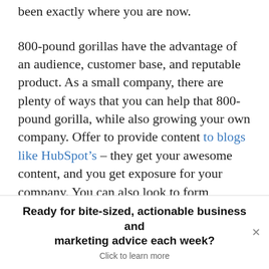been exactly where you are now.
800-pound gorillas have the advantage of an audience, customer base, and reputable product. As a small company, there are plenty of ways that you can help that 800-pound gorilla, while also growing your own company. Offer to provide content to blogs like HubSpot’s – they get your awesome content, and you get exposure for your company. You can also look to form strategic partnerships through software integrations. Take a look at...
Ready for bite-sized, actionable business and marketing advice each week?
Click to learn more